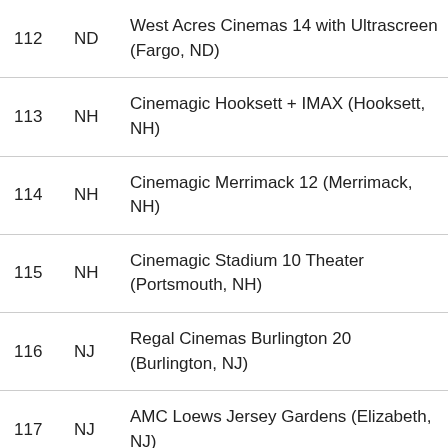| # | State | Theater |
| --- | --- | --- |
| 112 | ND | West Acres Cinemas 14 with Ultrascreen (Fargo, ND) |
| 113 | NH | Cinemagic Hooksett + IMAX (Hooksett, NH) |
| 114 | NH | Cinemagic Merrimack 12 (Merrimack, NH) |
| 115 | NH | Cinemagic Stadium 10 Theater (Portsmouth, NH) |
| 116 | NJ | Regal Cinemas Burlington 20 (Burlington, NJ) |
| 117 | NJ | AMC Loews Jersey Gardens (Elizabeth, NJ) |